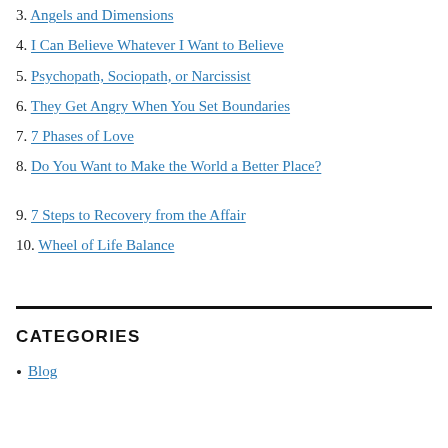3. Angels and Dimensions
4. I Can Believe Whatever I Want to Believe
5. Psychopath, Sociopath, or Narcissist
6. They Get Angry When You Set Boundaries
7. 7 Phases of Love
8. Do You Want to Make the World a Better Place?
9. 7 Steps to Recovery from the Affair
10. Wheel of Life Balance
CATEGORIES
Blog